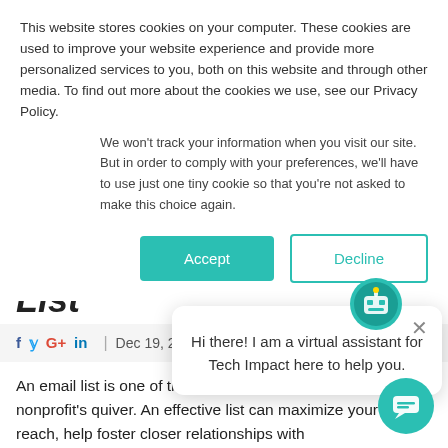This website stores cookies on your computer. These cookies are used to improve your website experience and provide more personalized services to you, both on this website and through other media. To find out more about the cookies we use, see our Privacy Policy.
We won't track your information when you visit our site. But in order to comply with your preferences, we'll have to use just one tiny cookie so that you're not asked to make this choice again.
Accept
Decline
List
Dec 19, 2011
An email list is one of the nonprofit's quiver. An effective list can maximize your reach, help foster closer relationships with constituents and improve fundraising. But what makes a list effective? For one thing, critical mass—the more people you can reach who are genuinely interested in your organization, the better.
Hi there! I am a virtual assistant for Tech Impact here to help you.